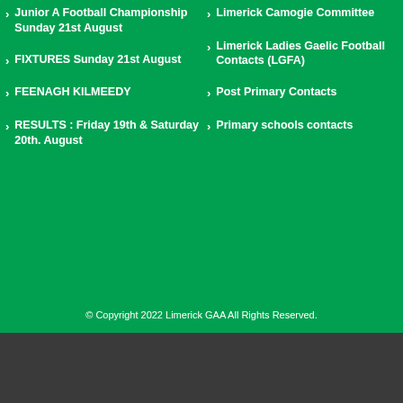Junior A Football Championship Sunday 21st August
FIXTURES Sunday 21st August
FEENAGH KILMEEDY
RESULTS : Friday 19th & Saturday 20th. August
Limerick Camogie Committee
Limerick Ladies Gaelic Football Contacts (LGFA)
Post Primary Contacts
Primary schools contacts
© Copyright 2022 Limerick GAA All Rights Reserved.
This website uses cookies and third party services to optomize our services. Settings
CLICK TO ACCEPT COOKIE POLICY